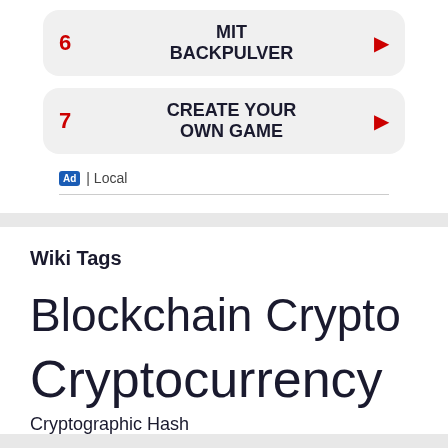6 MIT BACKPULVER
7 CREATE YOUR OWN GAME
Ad | Local
Wiki Tags
Blockchain Crypto Cryptocurrency Cryptographic Hash Cryptography Hash Protocols